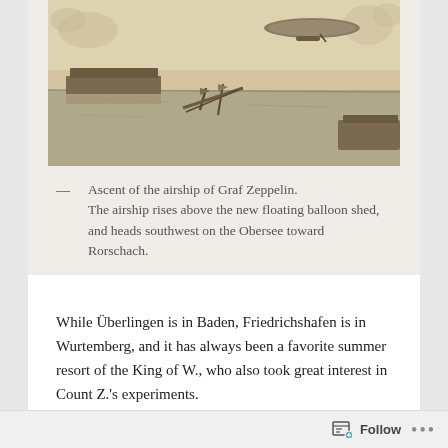[Figure (photo): Historic sepia photograph showing the ascent of the airship of Graf Zeppelin over water, with a floating balloon shed visible and flags in the foreground.]
— Ascent of the airship of Graf Zeppelin. The airship rises above the new floating balloon shed, and heads southwest on the Obersee toward Rorschach.
While Überlingen is in Baden, Friedrichshafen is in Wurtemberg, and it has always been a favorite summer resort of the King of W., who also took great interest in Count Z.'s experiments.
We next touched Lindau where we intended to return tonight on our way home, and we reached Bregenz in time for dinner, which we took in the open air in the
Follow ...